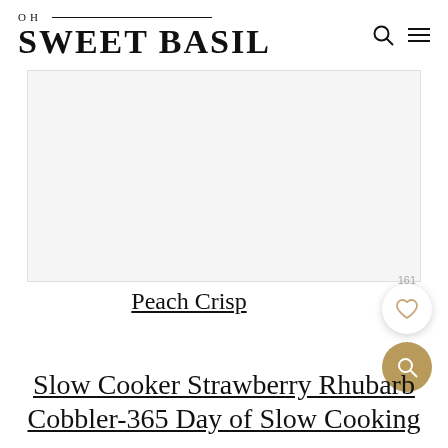OH SWEET BASIL
[Figure (photo): Large food/recipe photo placeholder area, light gray background]
161
Peach Crisp
Slow Cooker Strawberry Rhubarb Cobbler-365 Day of Slow Cooking